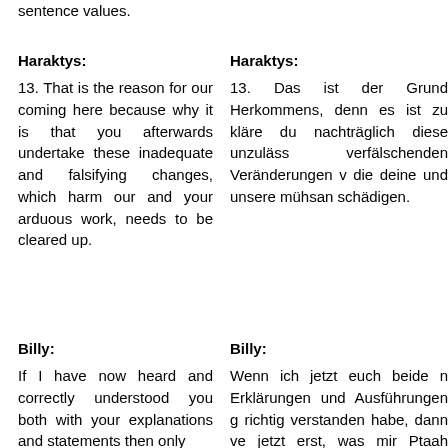sentence values.
Haraktys:
13. That is the reason for our coming here because why it is that you afterwards undertake these inadequate and falsifying changes, which harm our and your arduous work, needs to be cleared up.
Haraktys:
13. Das ist der Grund Herkommens, denn es ist zu kläre du nachträglich diese unzuläss verfälschenden Veränderungen v die deine und unsere mühsan schädigen.
Billy:
If I have now heard and correctly understood you both with your explanations and statements then only
Billy:
Wenn ich jetzt euch beide n Erklärungen und Ausführungen g richtig verstanden habe, dann ve jetzt erst, was mir Ptaah eigentlic wollte ich es jedoch nich